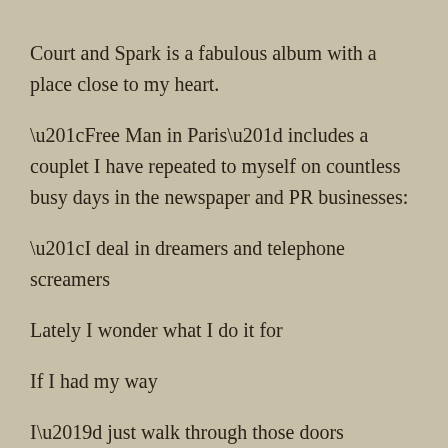Court and Spark is a fabulous album with a place close to my heart.
"Free Man in Paris" includes a couplet I have repeated to myself on countless busy days in the newspaper and PR businesses:
"I deal in dreamers and telephone screamers
Lately I wonder what I do it for
If I had my way
I'd just walk through those doors
And wander..."

As for Bob Seger, I could listen to "Beautiful Loser" seven or eight times in a row.
I'm not a huge fan of "Turn the Page," but I'm not sure he's singing about being a Rock Star (which, as was pointed out, he wasn't at the time.)